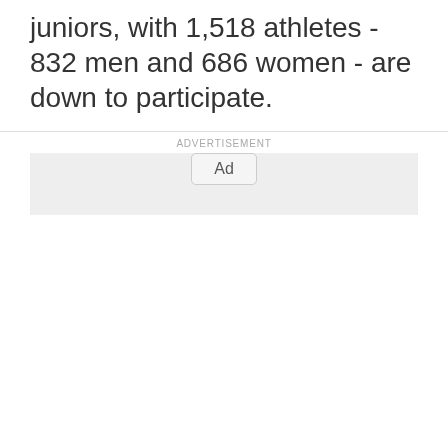juniors, with 1,518 athletes - 832 men and 686 women - are down to participate.
[Figure (other): Advertisement placeholder box with 'ADVERTISEMENT' label above and 'Ad' button centered near the bottom]